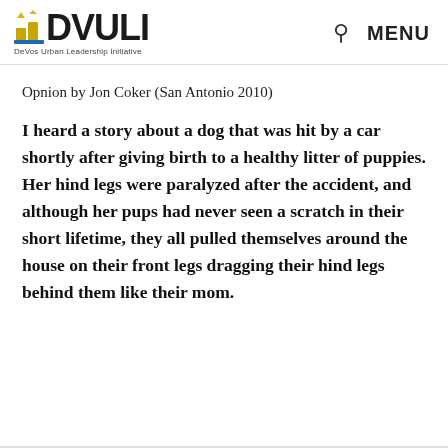DVULI — DeVos Urban Leadership Initiative — MENU
Opnion by Jon Coker (San Antonio 2010)
I heard a story about a dog that was hit by a car shortly after giving birth to a healthy litter of puppies. Her hind legs were paralyzed after the accident, and although her pups had never seen a scratch in their short lifetime, they all pulled themselves around the house on their front legs dragging their hind legs behind them like their mom.